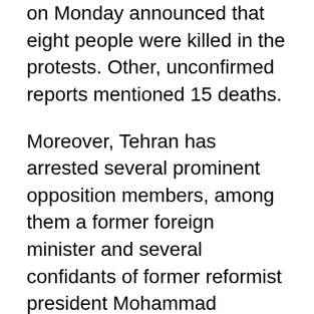on Monday announced that eight people were killed in the protests. Other, unconfirmed reports mentioned 15 deaths.
Moreover, Tehran has arrested several prominent opposition members, among them a former foreign minister and several confidants of former reformist president Mohammad Khatami and opposition leader Mir Hossein Moussavi. Two of the arrested were heads of Khatami's NGO Baran. Three others are Moussavi's advisors. This was reported by the website of the oppositional members of parliament, Parleman News.
Also, the dissident internet site Rahe Sabz reported the arrest of opposition member Ebrahim Yazdi on Monday. The report says that Yazdi was transferred to an undisclosed location after he was summoned to the Intelligence Ministry last week, but did not show up. Yazdi is a former Minister of Foreign Affairs, who also served as a close aide to former revolutionary leader Khomeini.